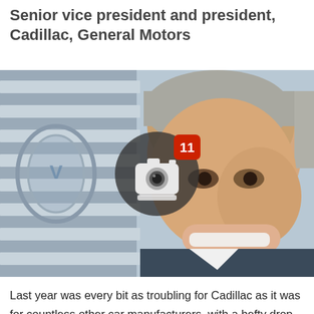Senior vice president and president, Cadillac, General Motors
[Figure (photo): Portrait photo of a smiling middle-aged man with grey hair, photographed in front of a Cadillac grille. A camera icon with a notification badge showing '11' is overlaid on the image.]
Last year was every bit as troubling for Cadillac as it was for countless other car manufacturers, with a hefty drop in sales in the firm's home market. But the brand's boss,